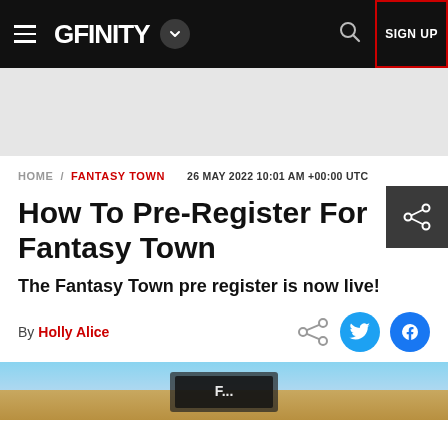GFINITY — navigation bar with logo, hamburger menu, dropdown, search, and SIGN UP button
[Figure (other): Gray advertisement/banner placeholder area]
HOME / FANTASY TOWN   26 MAY 2022 10:01 AM +00:00 UTC
How To Pre-Register For Fantasy Town
The Fantasy Town pre register is now live!
By Holly Alice
[Figure (screenshot): Bottom partial screenshot of Fantasy Town game image]